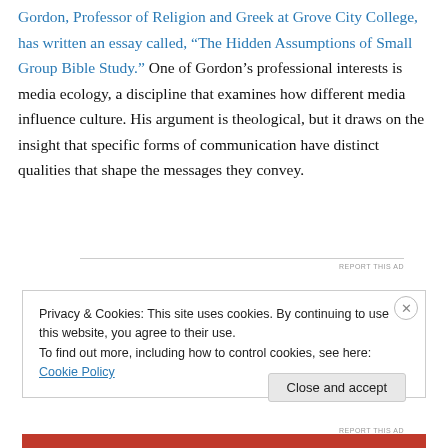Gordon, Professor of Religion and Greek at Grove City College, has written an essay called, “The Hidden Assumptions of Small Group Bible Study.” One of Gordon’s professional interests is media ecology, a discipline that examines how different media influence culture. His argument is theological, but it draws on the insight that specific forms of communication have distinct qualities that shape the messages they convey.
Privacy & Cookies: This site uses cookies. By continuing to use this website, you agree to their use. To find out more, including how to control cookies, see here: Cookie Policy